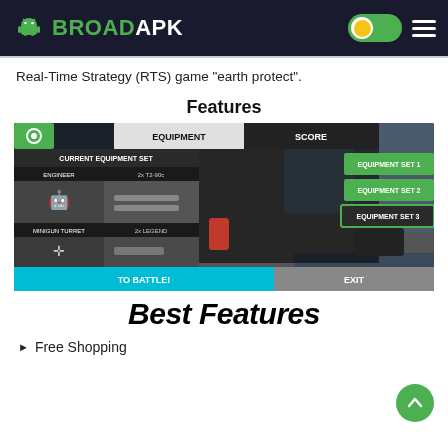BROADAPK
Real-Time Strategy (RTS) game “earth protect”.
Features
[Figure (screenshot): Screenshot of a mobile game showing equipment selection screen with categories: Engineer, 2x T2-90c, Minigun Turret, 2x Legend, Air Strike, Reaper, Shock Grenade, MW-21 Torch. Equipment Set 1, 2, 3 buttons on right. TO BATTLE! and EXIT buttons at bottom. City intersection visible in background.]
Best Features
Free Shopping